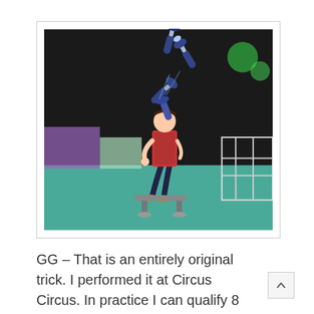[Figure (photo): A juggler performing at Circus Circus, balancing on a small platform while juggling several clubs in the air. The performer wears a red vest and dark pants. The background shows a dark stage with green stage lighting and bleacher seating to the right.]
GG – That is an entirely original trick. I performed it at Circus Circus. In practice I can qualify 8 balls and flash six clubs.